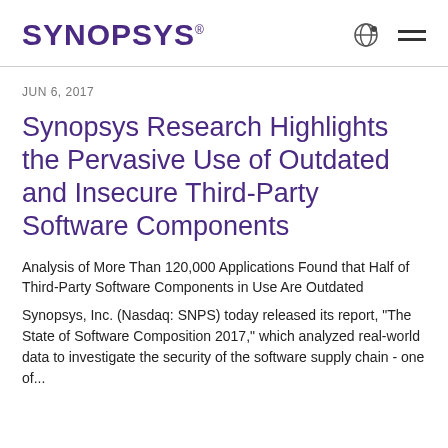SYNOPSYS
JUN 6, 2017
Synopsys Research Highlights the Pervasive Use of Outdated and Insecure Third-Party Software Components
Analysis of More Than 120,000 Applications Found that Half of Third-Party Software Components in Use Are Outdated
Synopsys, Inc. (Nasdaq: SNPS) today released its report, "The State of Software Composition 2017," which analyzed real-world data to investigate the security of the software supply chain - one of...